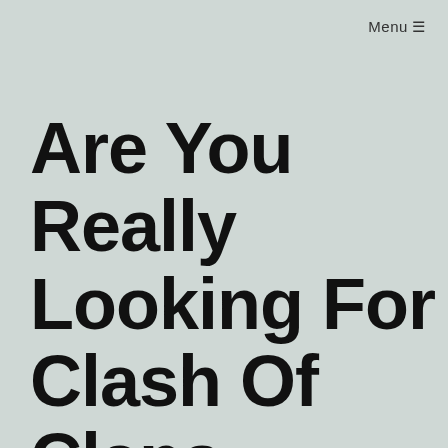Menu ☰
Are You Really Looking For Clash Of Clans Hack?